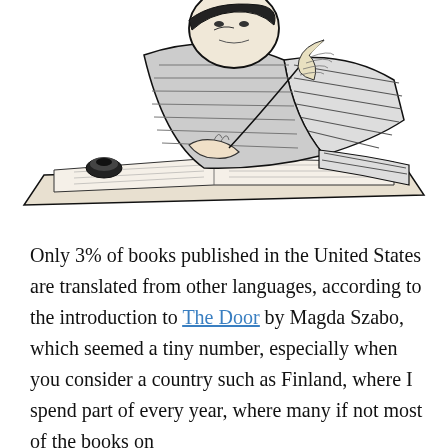[Figure (illustration): Black and white pen-and-ink illustration of a person seated at a desk writing with a quill pen, with papers and an inkwell on the desk in front of them.]
Only 3% of books published in the United States are translated from other languages, according to the introduction to The Door by Magda Szabo, which seemed a tiny number, especially when you consider a country such as Finland, where I spend part of every year, where many if not most of the books on